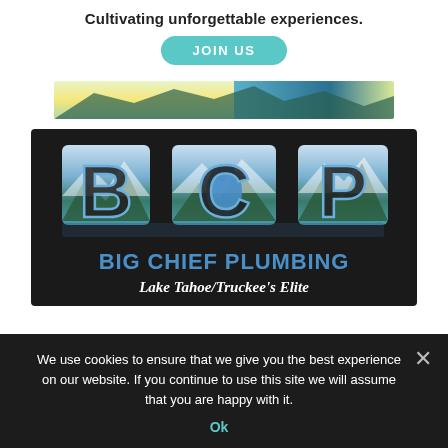Cultivating unforgettable experiences.
[Figure (other): JOIN US button styled as a teal pill/capsule shaped button]
[Figure (photo): Landscape banner image with green, yellow, blue landscape tones suggesting mountains and sky]
[Figure (logo): Big Chief Plumbing logo: large BCP letters with mountain/lake scene inside, Lake Tahoe outline in blue center, text 'BIG CHIEF PLUMBING' and 'Lake Tahoe/Truckee's Elite' on dark background]
We use cookies to ensure that we give you the best experience on our website. If you continue to use this site we will assume that you are happy with it.
Ok